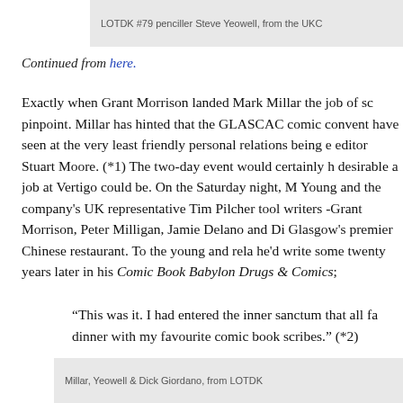LOTDK #79 penciller Steve Yeowell, from the UKC
Continued from here.
Exactly when Grant Morrison landed Mark Millar the job of sc… pinpoint. Millar has hinted that the GLASCAC comic convent… have seen at the very least friendly personal relations being … editor Stuart Moore. (*1) The two-day event would certainly h… desirable a job at Vertigo could be. On the Saturday night, M… Young and the company's UK representative Tim Pilcher too… writers -Grant Morrison, Peter Milligan, Jamie Delano and Di… Glasgow's premier Chinese restaurant. To the young and rel… he'd write some twenty years later in his Comic Book Babylon… Drugs & Comics;
“This was it. I had entered the inner sanctum that all fa… dinner with my favourite comic book scribes.” (*2)
Millar, Yeowell & Dick Giordano, from LOTDK